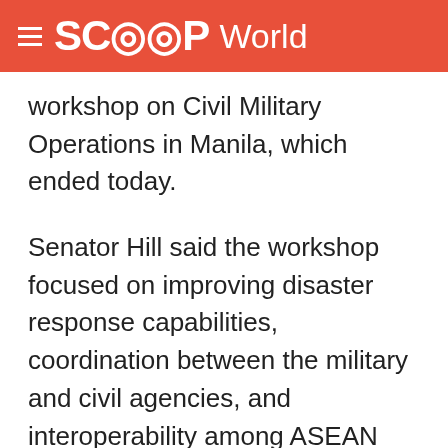SCOOP World
workshop on Civil Military Operations in Manila, which ended today.
Senator Hill said the workshop focused on improving disaster response capabilities, coordination between the military and civil agencies, and interoperability among ASEAN Regional Forum members.
"Civil and Military representatives from 24 ASEAN member countries met to exchange information on each country's experience in responding to natural disasters," Senator Hill said.
"The workshop included a natural disaster table top